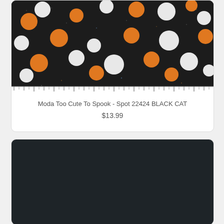[Figure (photo): Moda fabric with white and orange polka dots on a dark/black background, with a ruler strip at the bottom]
Moda Too Cute To Spook - Spot 22424 BLACK CAT
$13.99
[Figure (photo): Dark navy/black fabric with subtle repeating small cat face motifs in a tone-on-tone pattern]